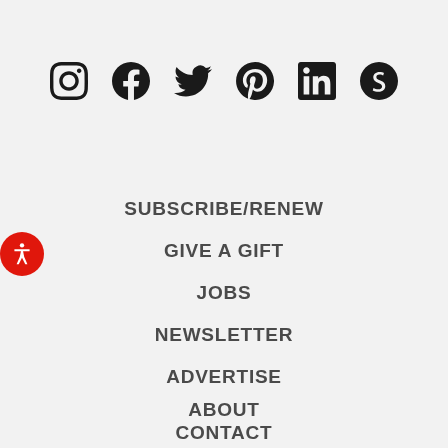[Figure (other): Row of six social media icons: Instagram, Facebook, Twitter, Pinterest, LinkedIn, and a sixth icon (possibly Scribd or similar)]
SUBSCRIBE/RENEW
GIVE A GIFT
JOBS
NEWSLETTER
ADVERTISE
ABOUT
CONTACT
CAREERS